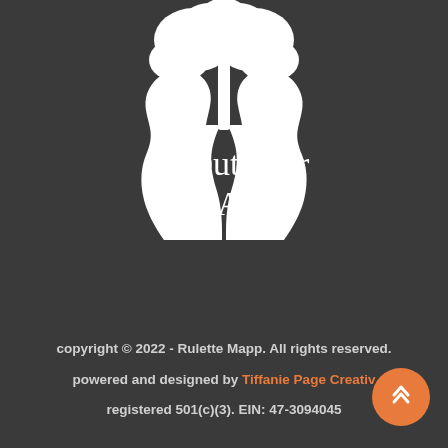[Figure (logo): OutDoor Afro logo: white silhouette of two faces back-to-back with a tree growing from their heads, with the text 'OutDoor Afro' in serif font]
copyright © 2022 - Rulette Mapp. All rights reserved.
powered and designed by Tiffanie Page Creative
registered 501(c)(3). EIN: 47-3094045